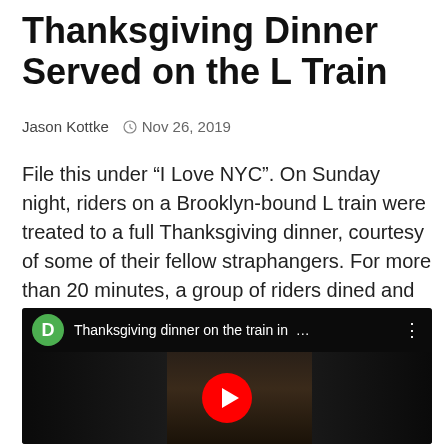Thanksgiving Dinner Served on the L Train
Jason Kottke  ⊙  Nov 26, 2019
File this under “I Love NYC”. On Sunday night, riders on a Brooklyn-bound L train were treated to a full Thanksgiving dinner, courtesy of some of their fellow straphangers. For more than 20 minutes, a group of riders dined and passed out plates of turkey, collards, stuffing, squash, and mashed potatoes to other folks in the car. Here’s a 21-minute chunk of the action:
[Figure (screenshot): YouTube video thumbnail showing 'Thanksgiving dinner on the train in ...' with a green D avatar icon, dark subway car background, and a red YouTube play button overlay.]